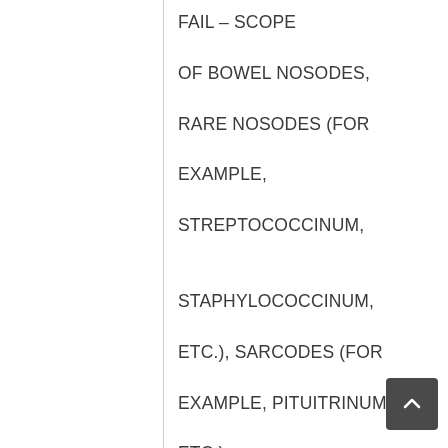FAIL – SCOPE OF BOWEL NOSODES, RARE NOSODES (FOR EXAMPLE, STREPTOCOCCINUM, STAPHYLOCOCCINUM, ETC.), SARCODES (FOR EXAMPLE, PITUITRINUM, ETC.) AND IMPONDERABILIA (FOR EXAMPLE, MAGNET, LUNA, ETC.); WITH